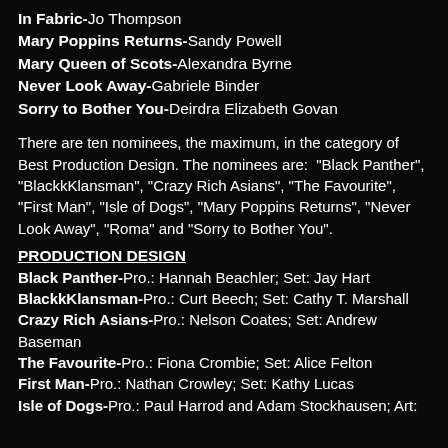In Fabric-Jo Thompson
Mary Poppins Returns-Sandy Powell
Mary Queen of Scots-Alexandra Byrne
Never Look Away-Gabriele Binder
Sorry to Bother You-Deirdra Elizabeth Govan
There are ten nominees, the maximum, in the category of Best Production Design. The nominees are:  "Black Panther",  "BlackkKlansman", "Crazy Rich Asians", "The Favourite", "First Man", "Isle of Dogs", "Mary Poppins Returns", "Never Look Away", "Roma" and "Sorry to Bother You".
PRODUCTION DESIGN
Black Panther-Pro.: Hannah Beachler; Set: Jay Hart
BlackkKlansman-Pro.: Curt Beech; Set: Cathy T. Marshall
Crazy Rich Asians-Pro.: Nelson Coates; Set: Andrew Baseman
The Favourite-Pro.: Fiona Crombie; Set: Alice Felton
First Man-Pro.: Nathan Crowley; Set: Kathy Lucas
Isle of Dogs-Pro.: Paul Harrod and Adam Stockhausen; Art: